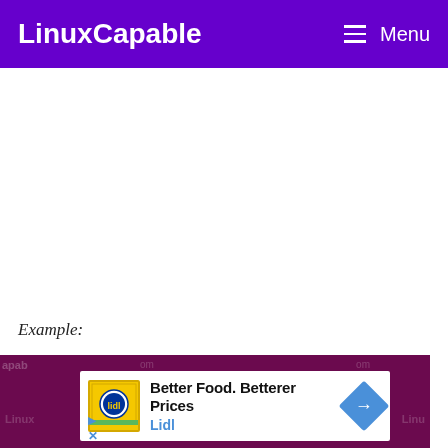LinuxCapable  Menu
Example:
[Figure (screenshot): Screenshot of a webpage showing a Lidl advertisement overlay with text 'Better Food. Betterer Prices' and brand name 'Lidl', on a dark purple background with watermark text. A close (X) button is visible in the upper right.]